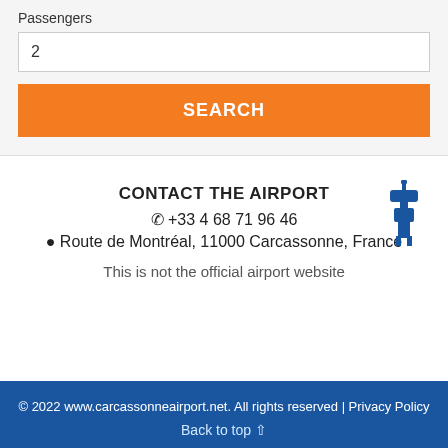Passengers
2
SEARCH
CONTACT THE AIRPORT
☎ +33 4 68 71 96 46
📍 Route de Montréal, 11000 Carcassonne, France
This is not the official airport website
© 2022 www.carcassonneairport.net. All rights reserved | Privacy Policy
Back to top ↑